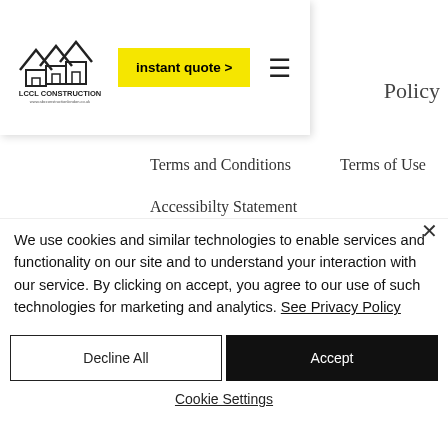[Figure (logo): LCCL Construction logo with house/roof icon and website URL]
instant quote >
Policy
Terms and Conditions
Terms of Use
Accessibilty Statement
Do Not Sell My Personal Information
Copyright 2006 - 2022 all rights received.
We use cookies and similar technologies to enable services and functionality on our site and to understand your interaction with our service. By clicking on accept, you agree to our use of such technologies for marketing and analytics. See Privacy Policy
Decline All
Accept
Cookie Settings